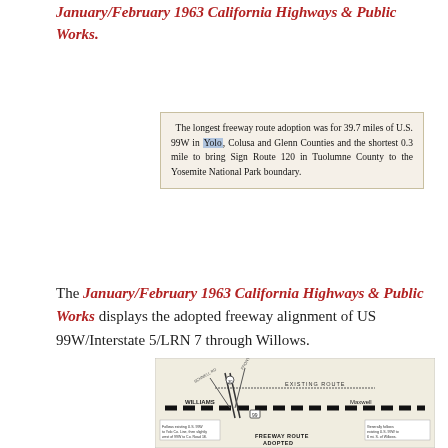January/February 1963 California Highways & Public Works.
[Figure (illustration): Newspaper clipping with text: The longest freeway route adoption was for 39.7 miles of U.S. 99W in Yolo, Colusa and Glenn Counties and the shortest 0.3 mile to bring Sign Route 120 in Tuolumne County to the Yosemite National Park boundary.]
The January/February 1963 California Highways & Public Works displays the adopted freeway alignment of US 99W/Interstate 5/LRN 7 through Willows.
[Figure (map): Map showing freeway route adopted near Williams and Maxwell, with existing route marked and freeway route adopted shown as dashed line. Labels include WILLIAMS, Maxwell, EXISTING ROUTE, FREEWAY ROUTE ADOPTED, and various road names.]